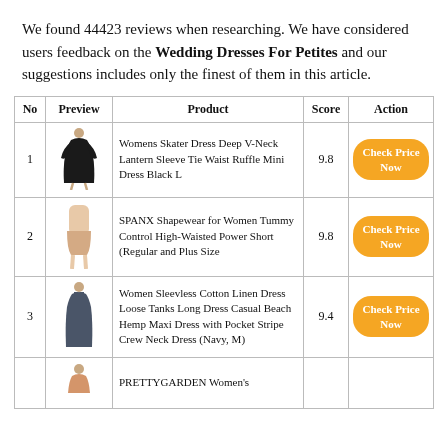We found 44423 reviews when researching. We have considered users feedback on the Wedding Dresses For Petites and our suggestions includes only the finest of them in this article.
| No | Preview | Product | Score | Action |
| --- | --- | --- | --- | --- |
| 1 | [image] | Womens Skater Dress Deep V-Neck Lantern Sleeve Tie Waist Ruffle Mini Dress Black L | 9.8 | Check Price Now |
| 2 | [image] | SPANX Shapewear for Women Tummy Control High-Waisted Power Short (Regular and Plus Size | 9.8 | Check Price Now |
| 3 | [image] | Women Sleevless Cotton Linen Dress Loose Tanks Long Dress Casual Beach Hemp Maxi Dress with Pocket Stripe Crew Neck Dress (Navy, M) | 9.4 | Check Price Now |
| 4 | [image] | PRETTYGARDEN Women's |  |  |